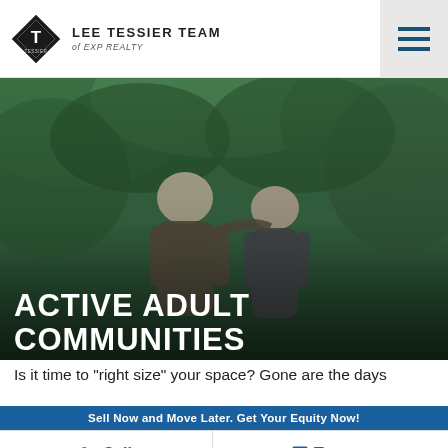Lee Tessier Team of eXp Realty
[Figure (photo): Hero image of two elderly adults smiling outdoors surrounded by green foliage, with overlaid text 'ACTIVE ADULT COMMUNITIES']
ACTIVE ADULT COMMUNITIES
Is it time to "right size" your space? Gone are the days
Sell Now and Move Later. Get Your Equity Now!
Call
Text